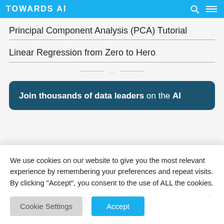TOWARDS AI
Principal Component Analysis (PCA) Tutorial
Linear Regression from Zero to Hero
...
Join thousands of data leaders on the AI
We use cookies on our website to give you the most relevant experience by remembering your preferences and repeat visits. By clicking “Accept”, you consent to the use of ALL the cookies.
Cookie Settings   Accept